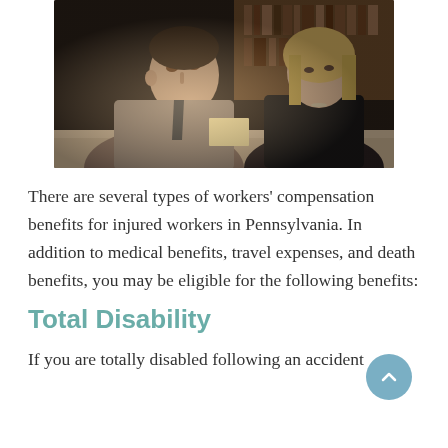[Figure (photo): Two people (a man in a striped shirt with a tie and a blonde woman in a dark jacket) sitting at a table, appearing to be in a legal consultation or meeting setting.]
There are several types of workers’ compensation benefits for injured workers in Pennsylvania. In addition to medical benefits, travel expenses, and death benefits, you may be eligible for the following benefits:
Total Disability
If you are totally disabled following an accident